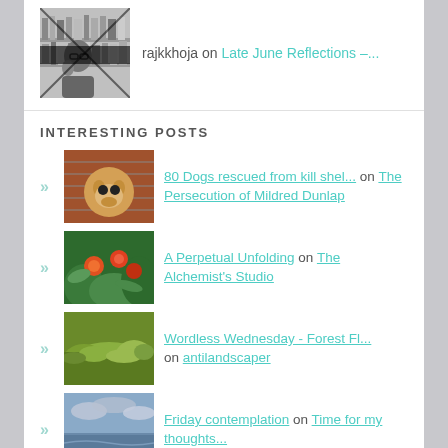rajkkhoja on Late June Reflections –...
INTERESTING POSTS
80 Dogs rescued from kill shel... on The Persecution of Mildred Dunlap
A Perpetual Unfolding on The Alchemist's Studio
Wordless Wednesday - Forest Fl... on antilandscaper
Friday contemplation on Time for my thoughts...
Mindful Living on Time for my thoughts...
Tuesday's Quotes - August 16... on Ti...